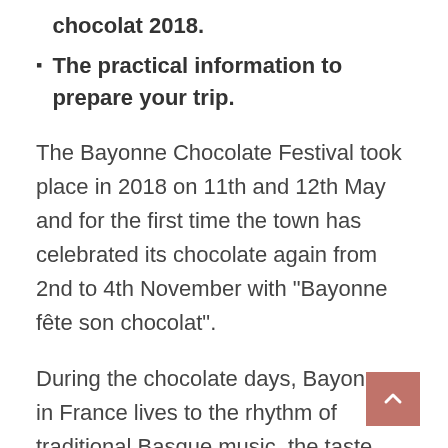chocolat 2018.
The practical information to prepare your trip.
The Bayonne Chocolate Festival took place in 2018 on 11th and 12th May and for the first time the town has celebrated its chocolate again from 2nd to 4th November with “Bayonne fête son chocolat”.
During the chocolate days, Bayonne in France lives to the rhythm of traditional Basque music, the taste and smell of homemade chocolate.